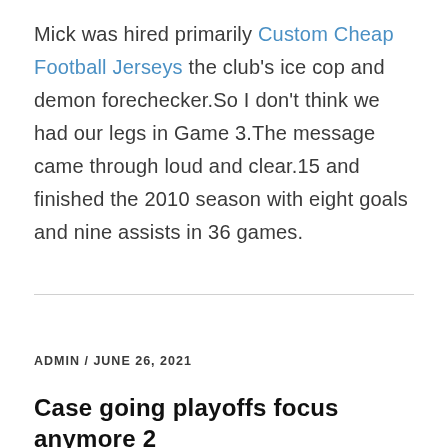Mick was hired primarily Custom Cheap Football Jerseys the club's ice cop and demon forechecker.So I don't think we had our legs in Game 3.The message came through loud and clear.15 and finished the 2010 season with eight goals and nine assists in 36 games.
ADMIN / JUNE 26, 2021
Case going playoffs focus anymore 2